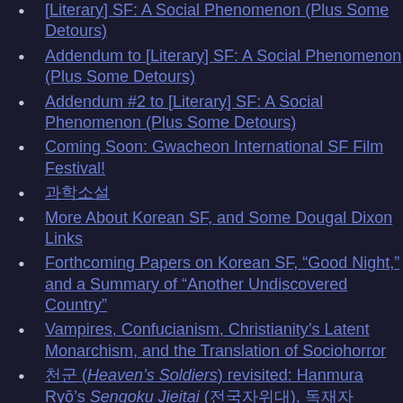[Literary] SF: A Social Phenomenon (Plus Some Detours)
Addendum to [Literary] SF: A Social Phenomenon (Plus Some Detours)
Addendum #2 to [Literary] SF: A Social Phenomenon (Plus Some Detours)
Coming Soon: Gwacheon International SF Film Festival!
과학소설
More About Korean SF, and Some Dougal Dixon Links
Forthcoming Papers on Korean SF, “Good Night,” and a Summary of “Another Undiscovered Country”
Vampires, Confucianism, Christianity’s Latent Monarchism, and the Translation of Sociohorror
천군 (Heaven’s Soldiers) revisited: Hanmura Ryō’s Sengoku Jieitai (전국자위대), 독재자 (Dictator), and more Korean SF News
7광구 (Sector 7) — Setting Korean SF Back Decades
Some Notes For Korean Film Companies Considering an SF